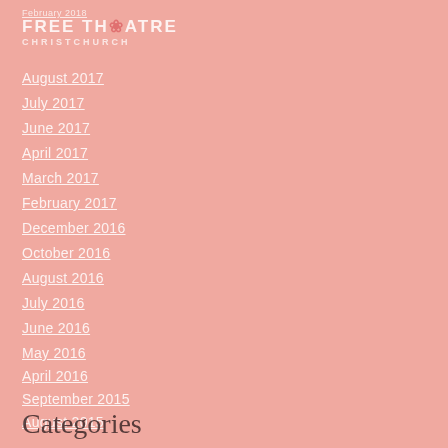February 2018
FREE THEATRE
CHRISTCHURCH
August 2017
July 2017
June 2017
April 2017
March 2017
February 2017
December 2016
October 2016
August 2016
July 2016
June 2016
May 2016
April 2016
September 2015
August 2015
Categories